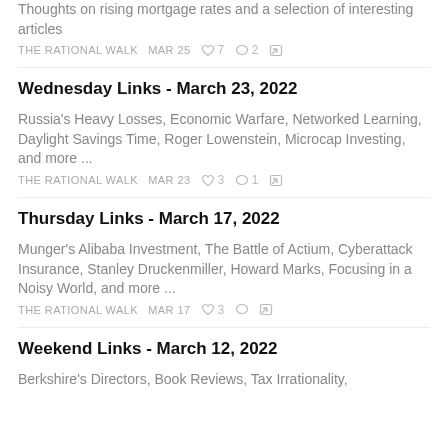Thoughts on rising mortgage rates and a selection of interesting articles
THE RATIONAL WALK   MAR 25   ♡ 7   ○ 2   ↗
Wednesday Links - March 23, 2022
Russia's Heavy Losses, Economic Warfare, Networked Learning, Daylight Savings Time, Roger Lowenstein, Microcap Investing, and more ...
THE RATIONAL WALK   MAR 23   ♡ 3   ○ 1   ↗
Thursday Links - March 17, 2022
Munger's Alibaba Investment, The Battle of Actium, Cyberattack Insurance, Stanley Druckenmiller, Howard Marks, Focusing in a Noisy World, and more ...
THE RATIONAL WALK   MAR 17   ♡ 3   ○   ↗
Weekend Links - March 12, 2022
Berkshire's Directors, Book Reviews, Tax Irrationality,